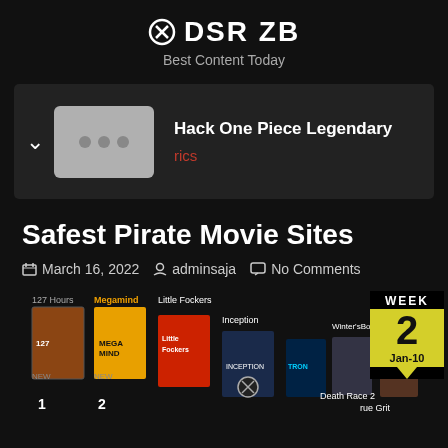DSR ZB
Best Content Today
[Figure (screenshot): Media player bar showing thumbnail with three dots, title 'Hack One Piece Legendary' and subtitle 'rics' in red]
Safest Pirate Movie Sites
March 16, 2022  adminsaja  No Comments
[Figure (infographic): Box office chart showing movie posters for 127 Hours, Megamind, Little Fockers, Inception and others. WEEK 2 badge Jan-10 in yellow/black on right side. Rankings 1, 2 visible.]